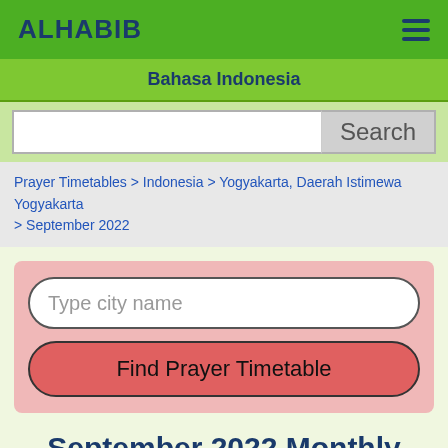ALHABIB
Bahasa Indonesia
Search
Prayer Timetables > Indonesia > Yogyakarta, Daerah Istimewa Yogyakarta > September 2022
Type city name
Find Prayer Timetable
September 2022 Monthly Prayer Timetable (PDF, Excel versions):